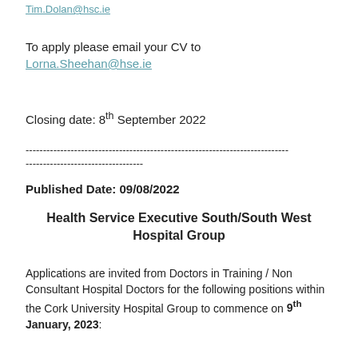Tim.Dolan@hsc.ie
To apply please email your CV to Lorna.Sheehan@hse.ie
Closing date: 8th September 2022
---------------------------------------------------------------------------- ----------------------------------
Published Date:  09/08/2022
Health Service Executive South/South West Hospital Group
Applications are invited from Doctors in Training / Non Consultant Hospital Doctors for the following positions within the Cork University Hospital Group to commence on 9th January, 2023: